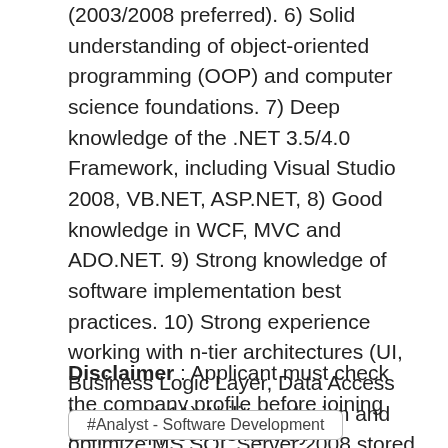(2003/2008 preferred). 6) Solid understanding of object-oriented programming (OOP) and computer science foundations. 7) Deep knowledge of the .NET 3.5/4.0 Framework, including Visual Studio 2008, VB.NET, ASP.NET, 8) Good knowledge in WCF, MVC and ADO.NET. 9) Strong knowledge of software implementation best practices. 10) Strong experience working with n-tier architectures (UI, Business Logic Layer, Data Access Layer etc) 11) Ability to design and optimize MS SQL Server 2008 stored procedures. 12) Experience with JQuery or similar technologies.
Disclaimer : Applicant must check the company profile before joining Bizplusapp.com is no way responsible for any loss.
#Analyst - Software Development